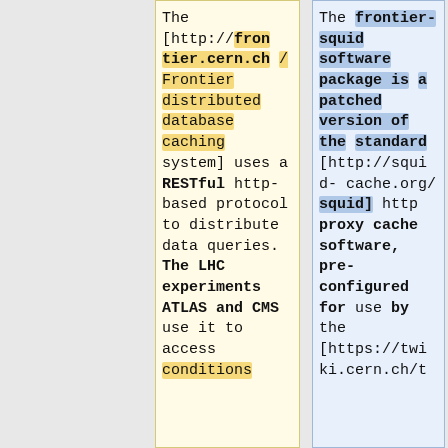The [http://frontier.cern.ch/ Frontier distributed database caching system] uses a RESTful http-based protocol to distribute data queries. The LHC experiments ATLAS and CMS use it to access conditions
The frontier-squid software package is a patched version of the standard [http://squid-cache.org/squid] http proxy cache software, pre-configured for use by the [https://twiki.cern.ch/t